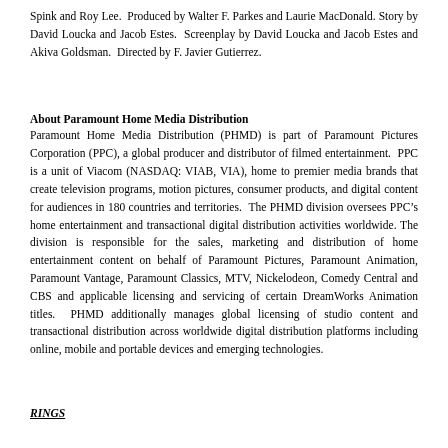Spink and Roy Lee.  Produced by Walter F. Parkes and Laurie MacDonald.  Story by David Loucka and Jacob Estes.  Screenplay by David Loucka and Jacob Estes and Akiva Goldsman.  Directed by F. Javier Gutierrez.
About Paramount Home Media Distribution
Paramount Home Media Distribution (PHMD) is part of Paramount Pictures Corporation (PPC), a global producer and distributor of filmed entertainment.  PPC is a unit of Viacom (NASDAQ: VIAB, VIA), home to premier media brands that create television programs, motion pictures, consumer products, and digital content for audiences in 180 countries and territories.  The PHMD division oversees PPC’s home entertainment and transactional digital distribution activities worldwide. The division is responsible for the sales, marketing and distribution of home entertainment content on behalf of Paramount Pictures, Paramount Animation, Paramount Vantage, Paramount Classics, MTV, Nickelodeon, Comedy Central and CBS and applicable licensing and servicing of certain DreamWorks Animation titles.  PHMD additionally manages global licensing of studio content and transactional distribution across worldwide digital distribution platforms including online, mobile and portable devices and emerging technologies.
RINGS